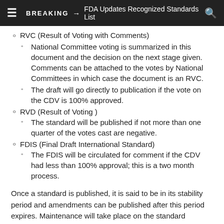BREAKING → FDA Updates Recognized Standards List
RVC (Result of Voting with Comments)
National Committee voting is summarized in this document and the decision on the next stage given. Comments can be attached to the votes by National Committees in which case the document is an RVC.
The draft will go directly to publication if the vote on the CDV is 100% approved.
RVD (Result of Voting )
The standard will be published if not more than one quarter of the votes cast are negative.
FDIS (Final Draft International Standard)
The FDIS will be circulated for comment if the CDV had less than 100% approval; this is a two month process.
Once a standard is published, it is said to be in its stability period and amendments can be published after this period expires. Maintenance will take place on the standard automatically after three years, although it can be started earlier or later but not more than five years. After two amendments, if a third amendment is produced, then all amendments will be combined